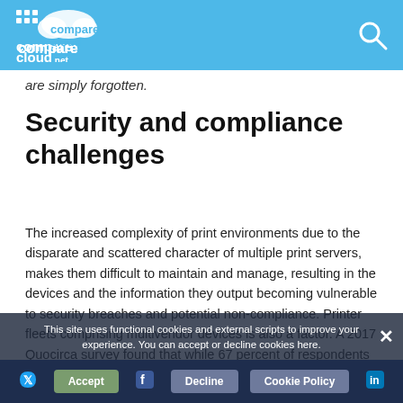CompareCloud.net
are simply forgotten.
Security and compliance challenges
The increased complexity of print environments due to the disparate and scattered character of multiple print servers, makes them difficult to maintain and manage, resulting in the devices and the information they output becoming vulnerable to security breaches and potential non-compliance. Printer fleets comprising multivendor devices is also a factor. A 2017 Quocirca survey found that while 67 percent of respondents operating a multivendor fleet reported at least one data loss, this
This site uses functional cookies and external scripts to improve your experience. You can accept or decline cookies here.